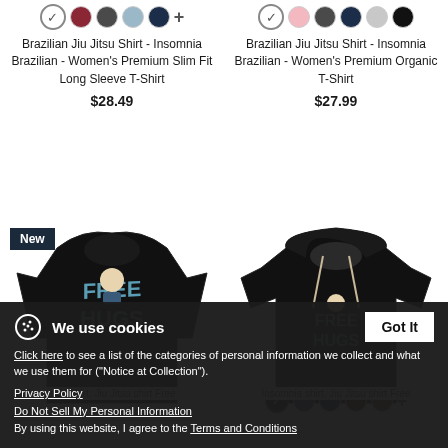[Figure (photo): Color swatches for Women's Premium Slim Fit Long Sleeve T-Shirt - checkmark, dark red, dark gray, light blue, dark navy, plus sign]
Brazilian Jiu Jitsu Shirt - Insomnia Brazilian - Women's Premium Slim Fit Long Sleeve T-Shirt
$28.49
[Figure (photo): Color swatches for Women's Premium Organic T-Shirt - checkmark, pink, dark gray, dark navy, light gray, black]
Brazilian Jiu Jitsu Shirt - Insomnia Brazilian - Women's Premium Organic T-Shirt
$27.99
[Figure (photo): Black women's t-shirt with 'Free Hugs' Brazilian Jiu Jitsu graphic design, New badge in top left corner]
[Figure (photo): Black hoodie with 'Free Hugs' Brazilian Jiu Jitsu graphic design]
[Figure (photo): Color swatches for hoodie - black checkmark, dark purple, dark navy, dark red, burgundy, plus sign]
judo shirt, Jiu Jitsu shirt Free
Insomnia shirt, Jiu Jitsu shirt Free
We use cookies
Click here to see a list of the categories of personal information we collect and what we use them for ("Notice at Collection").
Privacy Policy
Do Not Sell My Personal Information
By using this website, I agree to the Terms and Conditions
Got It